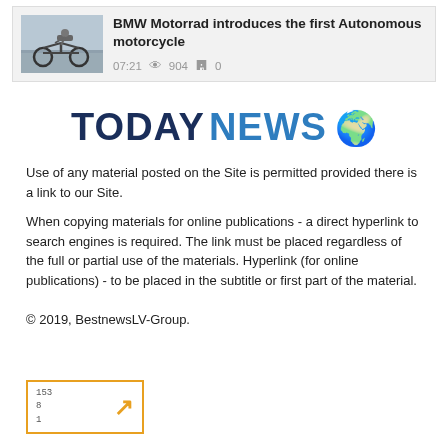[Figure (screenshot): News article card with motorcycle photo thumbnail, title 'BMW Motorrad introduces the first Autonomous motorcycle', timestamp 07:21, view count 904, comment count 0]
[Figure (logo): TODAY NEWS logo with globe emoji - TODAY in dark navy, NEWS in blue, followed by globe emoji]
Use of any material posted on the Site is permitted provided there is a link to our Site.
When copying materials for online publications - a direct hyperlink to search engines is required. The link must be placed regardless of the full or partial use of the materials. Hyperlink (for online publications) - to be placed in the subtitle or first part of the material.
© 2019, BestnewsLV-Group.
[Figure (other): Small badge/stamp with numbers 153, 8, 1 and an orange arrow icon, bordered in orange]